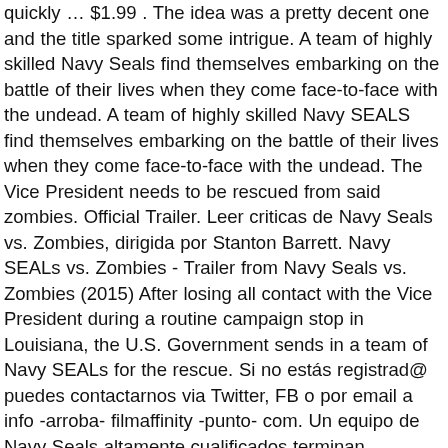quickly … $1.99 . The idea was a pretty decent one and the title sparked some intrigue. A team of highly skilled Navy Seals find themselves embarking on the battle of their lives when they come face-to-face with the undead. A team of highly skilled Navy SEALS find themselves embarking on the battle of their lives when they come face-to-face with the undead. The Vice President needs to be rescued from said zombies. Official Trailer. Leer criticas de Navy Seals vs. Zombies, dirigida por Stanton Barrett. Navy SEALs vs. Zombies - Trailer from Navy Seals vs. Zombies (2015) After losing all contact with the Vice President during a routine campaign stop in Louisiana, the U.S. Government sends in a team of Navy SEALs for the rescue. Si no estás registrad@ puedes contactarnos via Twitter, FB o por email a info -arroba- filmaffinity -punto- com. Un equipo de Navy Seals altamente cualificados terminan embarcados en la batalla de sus vidas al enfrentarse cara a cara con muertos vivientes. Navy Seals vs Zombies TRAILER (2015) Horror Action Movie. Titulo original: Navy Seals vs. Zombies. © 2002-2020 Filmaffinity - Movieaffinity | Filmaffinity es una página de recomendación de películas y series. y